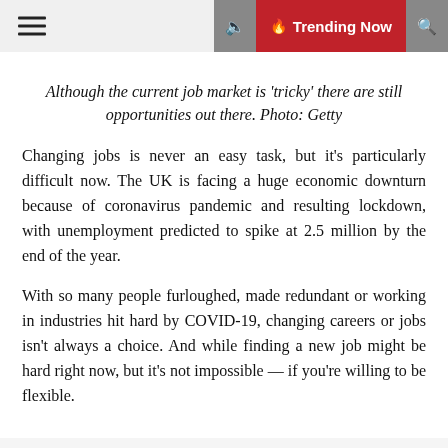☰  🔥 Trending Now  🔍
Although the current job market is 'tricky' there are still opportunities out there. Photo: Getty
Changing jobs is never an easy task, but it's particularly difficult now. The UK is facing a huge economic downturn because of coronavirus pandemic and resulting lockdown, with unemployment predicted to spike at 2.5 million by the end of the year.
With so many people furloughed, made redundant or working in industries hit hard by COVID-19, changing careers or jobs isn't always a choice. And while finding a new job might be hard right now, but it's not impossible — if you're willing to be flexible.